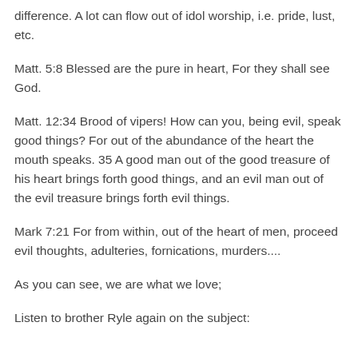difference. A lot can flow out of idol worship, i.e. pride, lust, etc.
Matt. 5:8 Blessed are the pure in heart, For they shall see God.
Matt. 12:34 Brood of vipers! How can you, being evil, speak good things? For out of the abundance of the heart the mouth speaks. 35 A good man out of the good treasure of his heart brings forth good things, and an evil man out of the evil treasure brings forth evil things.
Mark 7:21 For from within, out of the heart of men, proceed evil thoughts, adulteries, fornications, murders....
As you can see, we are what we love;
Listen to brother Ryle again on the subject: